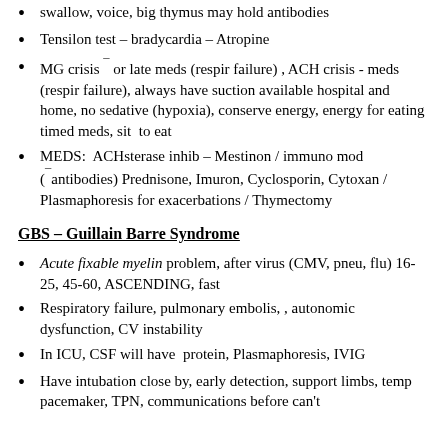swallow, voice, big thymus may hold antibodies
Tensilon test – bradycardia – Atropine
MG crisis ¯ or late meds (respir failure) , ACH crisis - meds (respir failure), always have suction available hospital and home, no sedative (hypoxia), conserve energy, energy for eating timed meds, sit  to eat
MEDS:  ACHsterase inhib – Mestinon / immuno mod (¯antibodies) Prednisone, Imuron, Cyclosporin, Cytoxan / Plasmaphoresis for exacerbations / Thymectomy
GBS – Guillain Barre Syndrome
Acute fixable myelin problem, after virus (CMV, pneu, flu) 16-25, 45-60, ASCENDING, fast
Respiratory failure, pulmonary embolis, , autonomic dysfunction, CV instability
In ICU, CSF will have  protein, Plasmaphoresis, IVIG
Have intubation close by, early detection, support limbs, temp pacemaker, TPN, communications before can't